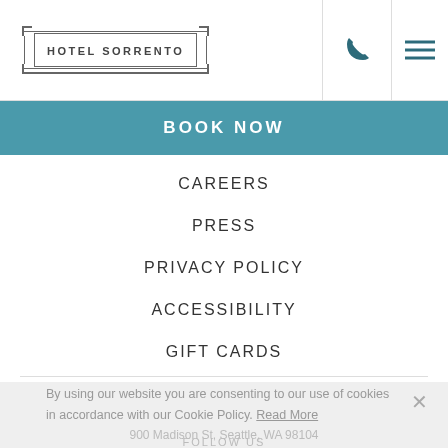HOTEL SORRENTO
BOOK NOW
CAREERS
PRESS
PRIVACY POLICY
ACCESSIBILITY
GIFT CARDS
By using our website you are consenting to our use of cookies in accordance with our Cookie Policy. Read More
FOLLOW US
ACCEPT
900 Madison St, Seattle, WA 98104